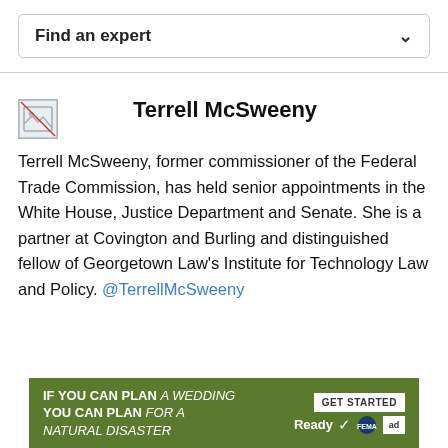Find an expert
[Figure (illustration): Broken image placeholder icon (small square with mountains/image icon)]
Terrell McSweeny
Terrell McSweeny, former commissioner of the Federal Trade Commission, has held senior appointments in the White House, Justice Department and Senate. She is a partner at Covington and Burling and distinguished fellow of Georgetown Law's Institute for Technology Law and Policy. @TerrellMcSweeny
[Figure (infographic): Green advertisement banner: IF YOU CAN PLAN A WEDDING YOU CAN PLAN FOR A NATURAL DISASTER. GET STARTED. Ready FEMA ad logos.]